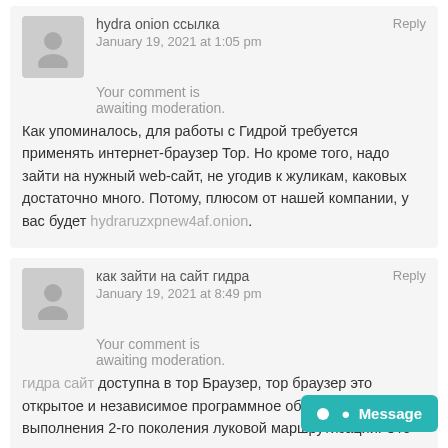hydra onion ссылка
January 19, 2021 at 1:05 pm
Reply
Your comment is awaiting moderation.
Как упоминалось, для работы с Гидрой требуется применять интернет-браузер Тор. Но кроме того, надо зайти на нужный web-сайт, не угодив к жуликам, каковых достаточно много. Потому, плюсом от нашей компании, у вас будет hydraruzxpnew4af.onion.
как зайти на сайт гидра
January 19, 2021 at 8:49 pm
Reply
Your comment is awaiting moderation.
гидра сайт доступна в тор Браузер, тор браузер это открытое и независимое программное обеспечение для выполнения 2-го поколения луковой маршрутизации. Это цепочка прокси-